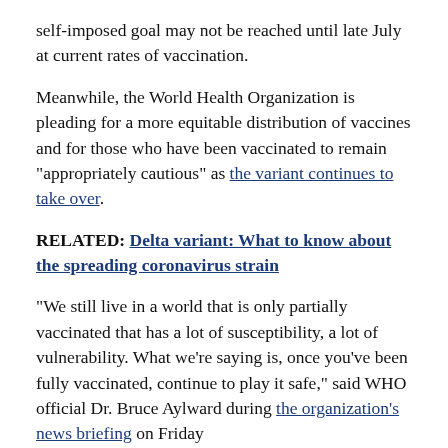self-imposed goal may not be reached until late July at current rates of vaccination.
Meanwhile, the World Health Organization is pleading for a more equitable distribution of vaccines and for those who have been vaccinated to remain "appropriately cautious" as the variant continues to take over.
RELATED: Delta variant: What to know about the spreading coronavirus strain
"We still live in a world that is only partially vaccinated that has a lot of susceptibility, a lot of vulnerability. What we're saying is, once you've been fully vaccinated, continue to play it safe," said WHO official Dr. Bruce Aylward during the organization's news briefing on Friday...